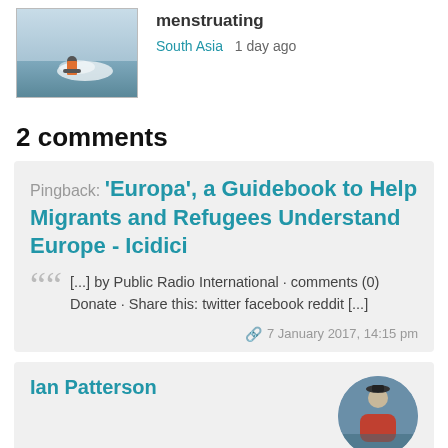[Figure (photo): Person on a watercraft causing a splash on water surface]
menstruating
South Asia  1 day ago
2 comments
Pingback: 'Europa', a Guidebook to Help Migrants and Refugees Understand Europe - Icidici
[...] by Public Radio International · comments (0) Donate · Share this: twitter facebook reddit [...]
7 January 2017, 14:15 pm
Ian Patterson
This sounds a brilliant idea! I'm hoping to work with some refugees locallt, in NE Scotland, so I might try and get copy… :-)
[Figure (photo): Circular avatar photo of Ian Patterson, a person outdoors]